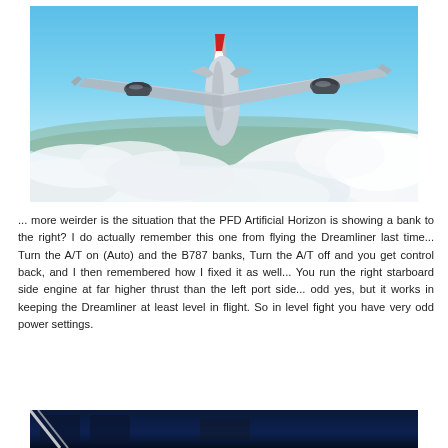[Figure (photo): Rear view of a commercial Boeing 787 Dreamliner aircraft flying above clouds with blue sky background, viewed from slightly below and behind showing the tail, engines, and wings.]
...  more weirder is the situation that the PFD Artificial Horizon is showing a bank to the right? I do actually remember this one from flying the Dreamliner last time...   Turn the A/T on (Auto) and the B787 banks, Turn the A/T off and you get control back, and I then remembered how I fixed it as well...   You run the right starboard side engine at far higher thrust than the left port side...  odd yes, but it works in keeping the Dreamliner at least level in flight. So in level fight you have very odd power settings.
[Figure (screenshot): Bottom strip showing the beginning of another screenshot or image, dark blue and black tones, partially visible at the bottom of the page.]